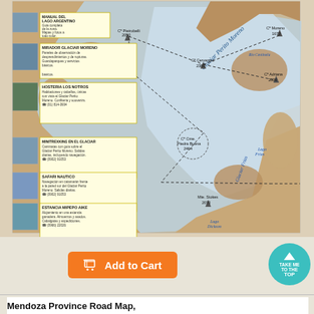[Figure (map): Map of Glaciar Perito Moreno area in Patagonia, Argentina, showing glaciers, lakes, mountains, and tourist information panels on the left side including: Manual del Lago Argentino, Mirador Glaciar Moreno, Hosteria Los Notros, Minitrexking en el Glaciar, Safari Nautico, Estancia Mipepo Aike. Map labels include Glaciar Perito Moreno, Fiordo Calvo, Lago Frias, Glaciar Frias, Mte. Stokes 2070, Lago Dickson, Cº Pietrobelli 2050, Cº Moreno 1670, Cº Cervantes 2380, Cº Adriana 2000, Cº Crne. Piedra Buena 2464, Rio Centinela.]
[Figure (other): Orange 'Add to Cart' button with shopping cart icon]
[Figure (other): Teal circular 'Take Me To The Top' button]
Mendoza Province Road Map,